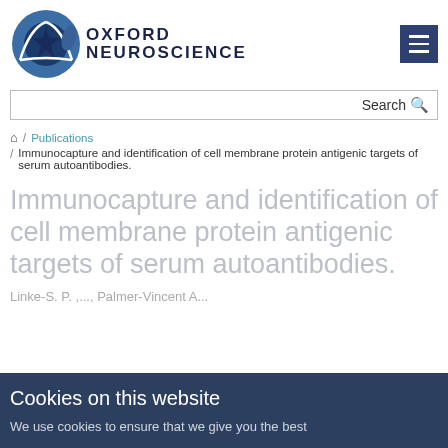[Figure (logo): Oxford Neuroscience logo with circular brain icon and text 'OXFORD NEUROSCIENCE']
Search
🏠 / Publications / Immunocapture and identification of cell membrane protein antigenic targets of serum autoantibodies.
Immunocapture and identification of cell membrane protein antigenic targets of serum autoantibodies.
Cookies on this website
We use cookies to ensure that we give you the best